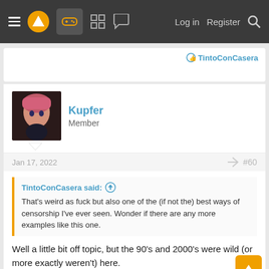Navigation bar with hamburger menu, logo, game controller icon, grid icon, chat icon, Log in, Register, Search
TintoConCasera
Kupfer
Member
Jan 17, 2022
#60
TintoConCasera said: ↑

That's weird as fuck but also one of the (if not the) best ways of censorship I've ever seen. Wonder if there are any more examples like this one.
Well a little bit off topic, but the 90's and 2000's were wild (or more exactly weren't) here.

Robots in C&C generals, robots in HL, humans can't be killed in HL but sit on the floor shaking their head and ponder the meaning of life, characters in TF2 are not made out of flesh